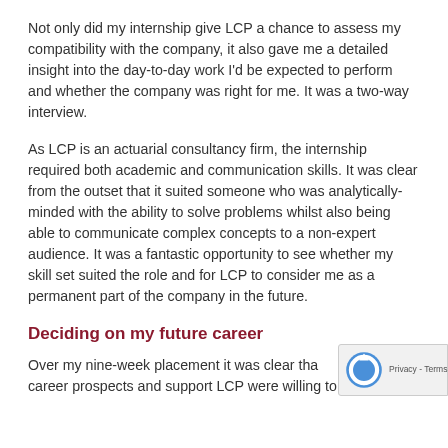Not only did my internship give LCP a chance to assess my compatibility with the company, it also gave me a detailed insight into the day-to-day work I'd be expected to perform and whether the company was right for me. It was a two-way interview.
As LCP is an actuarial consultancy firm, the internship required both academic and communication skills. It was clear from the outset that it suited someone who was analytically-minded with the ability to solve problems whilst also being able to communicate complex concepts to a non-expert audience. It was a fantastic opportunity to see whether my skill set suited the role and for LCP to consider me as a permanent part of the company in the future.
Deciding on my future career
Over my nine-week placement it was clear that career prospects and support LCP were willing to